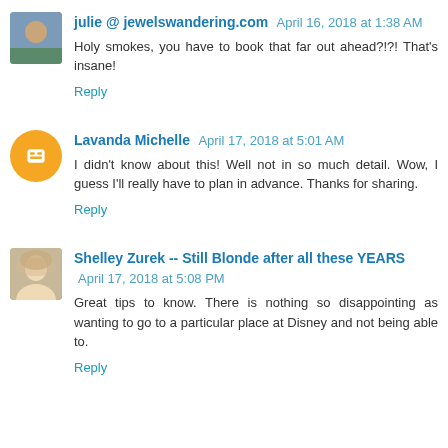julie @ jewelswandering.com April 16, 2018 at 1:38 AM
Holy smokes, you have to book that far out ahead?!?! That's insane!
Reply
Lavanda Michelle April 17, 2018 at 5:01 AM
I didn't know about this! Well not in so much detail. Wow, I guess I'll really have to plan in advance. Thanks for sharing.
Reply
Shelley Zurek -- Still Blonde after all these YEARS April 17, 2018 at 5:08 PM
Great tips to know. There is nothing so disappointing as wanting to go to a particular place at Disney and not being able to.
Reply